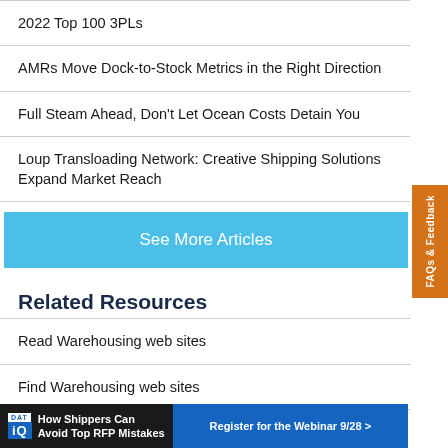2022 Top 100 3PLs
AMRs Move Dock-to-Stock Metrics in the Right Direction
Full Steam Ahead, Don’t Let Ocean Costs Detain You
Loup Transloading Network: Creative Shipping Solutions Expand Market Reach
See More Articles
Related Resources
Read Warehousing web sites
Find Warehousing web sites
[Figure (infographic): DAT IQ advertisement banner: How Shippers Can Avoid Top RFP Mistakes. Register for the Webinar 9/28.]